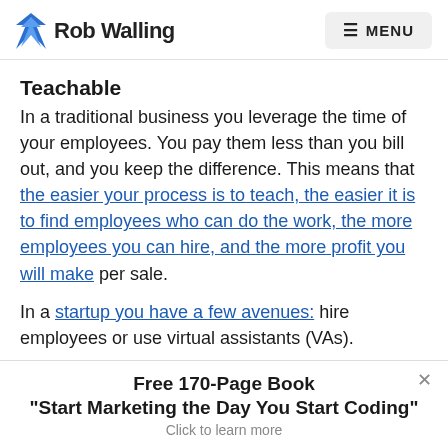Rob Walling  MENU
Teachable
In a traditional business you leverage the time of your employees. You pay them less than you bill out, and you keep the difference. This means that the easier your process is to teach, the easier it is to find employees who can do the work, the more employees you can hire, and the more profit you will make per sale.
In a startup you have a few avenues: hire employees or use virtual assistants (VAs).
Free 170-Page Book
"Start Marketing the Day You Start Coding"
Click to learn more